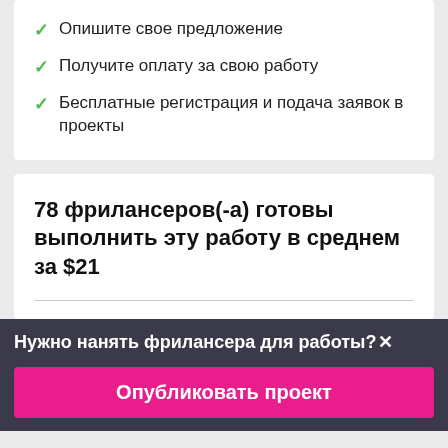Опишите свое предложение
Получите оплату за свою работу
Бесплатные регистрация и подача заявок в проекты
78 фрилансеров(-а) готовы выполнить эту работу в среднем за $21
Нужно нанять фрилансера для работы?
Опубликовать проект